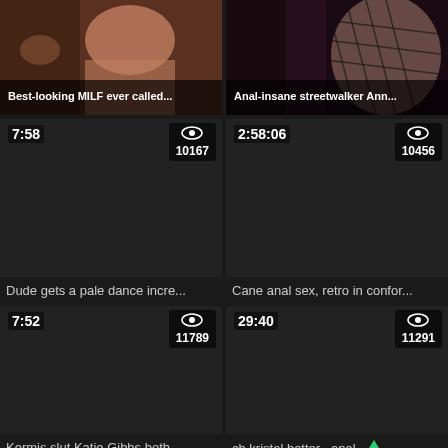[Figure (screenshot): Video thumbnail grid showing adult video website interface with 6 video cards in 2-column layout. Top row shows thumbnail images with title overlays. Remaining rows show dark placeholder thumbnails with duration, view count metadata, and video titles.]
Best-looking MILF ever called...
Anal-insane streetwalker Ann...
7:58 | 10167 views
2:58:06 | 10456 views
Dude gets a pale dance incre...
Cane anal sex, retro in confor...
7:52 | 11789 views
29:40 | 11291 views
Kermis slut Katie Gibbs both...
ch kristal batter , anal
29:17 views
32:00 views